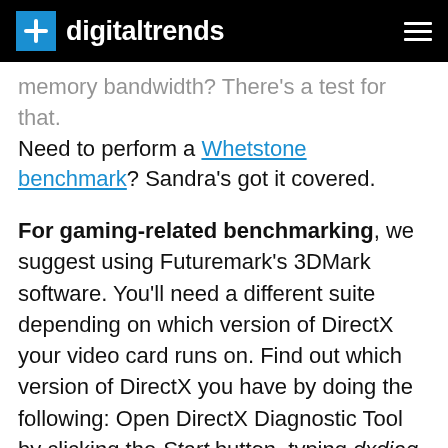digitaltrends
memory bandwidth? There's a test for that. Need to perform a Whetstone benchmark? Sandra's got it covered.
For gaming-related benchmarking, we suggest using Futuremark's 3DMark software. You'll need a different suite depending on which version of DirectX your video card runs on. Find out which version of DirectX you have by doing the following: Open DirectX Diagnostic Tool by clicking the Start button, typing dxdiag in